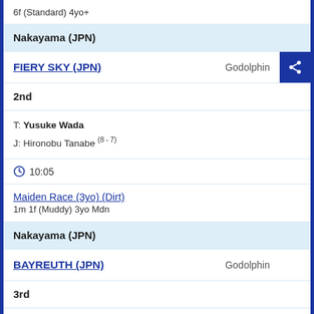6f (Standard) 4yo+
Nakayama (JPN)
FIERY SKY (JPN)   Godolphin
2nd
T: Yusuke Wada
J: Hironobu Tanabe (8 - 7)
10:05
Maiden Race (3yo) (Dirt)
1m 1f (Muddy) 3yo Mdn
Nakayama (JPN)
BAYREUTH (JPN)   Godolphin
3rd